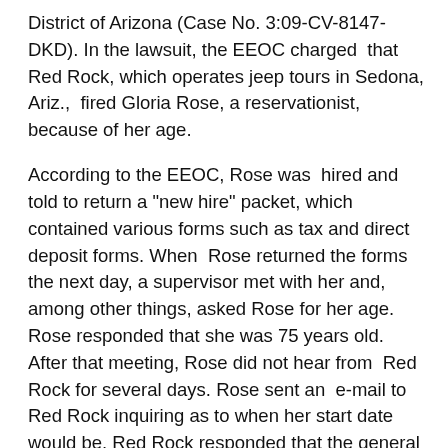District of Arizona (Case No. 3:09-CV-8147- DKD). In the lawsuit, the EEOC charged that Red Rock, which operates jeep tours in Sedona, Ariz., fired Gloria Rose, a reservationist, because of her age.
According to the EEOC, Rose was hired and told to return a "new hire" packet, which contained various forms such as tax and direct deposit forms. When Rose returned the forms the next day, a supervisor met with her and, among other things, asked Rose for her age. Rose responded that she was 75 years old. After that meeting, Rose did not hear from Red Rock for several days. Rose sent an e-mail to Red Rock inquiring as to when her start date would be. Red Rock responded that the general manager and supervisor did not think Rose was "the right person" for the job. Rose responded with an e-mail inquiring as to how they could make that determination without actually seeing her work product. Rose informed Red